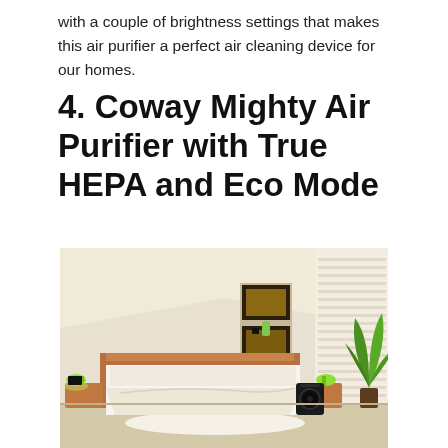with a couple of brightness settings that makes this air purifier a perfect air cleaning device for our homes.
4. Coway Mighty Air Purifier with True HEPA and Eco Mode
[Figure (photo): A modern bedroom interior with a wood-framed bed, white bedding, decorative wall-mounted shelving units with artwork, a green plant in the corner, green accent lamps on bedside tables, and a black air purifier on the floor to the right of the bed. The room has a bright, airy feel with light-colored walls and natural lighting.]